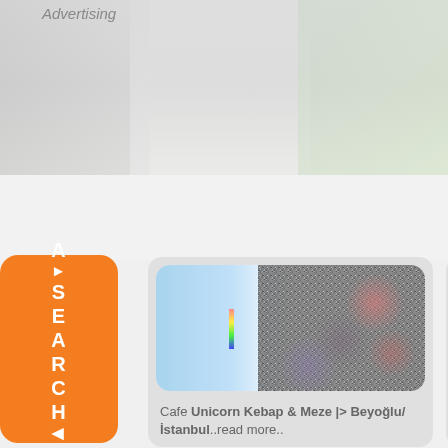Advertising
[Figure (photo): Blurred banner/advertising image at the top of the page with light grey and green tones]
[Figure (illustration): Orange vertical side tab with letters A, arrow, S, E, A, R, C, H, arrow, arrow written vertically in white]
[Figure (screenshot): App icon showing a blue gradient background with scattered black/colourful pixel art pattern and rainbow strip]
Cafe Unicorn Kebap & Meze |> Beyoğlu/ İstanbul...read more..
[Figure (screenshot): Partially visible second app card showing blue gradient with right-pointing arrow icon]
Restau... Beyoğlu İstanbu...